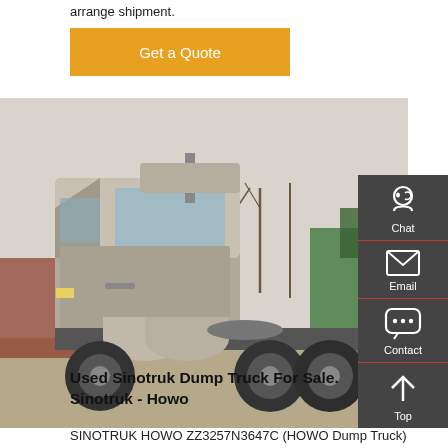arrange shipment.
Get a Quote
[Figure (photo): Side view of a used Sinotruk Howo heavy truck tractor unit parked in a lot with other trucks and bare trees in the background.]
Used Sinotruk Dump Truck For Sale. Sinotruk - Howo
SINOTRUK HOWO ZZ3257N3647C (HOWO Dump Truck)